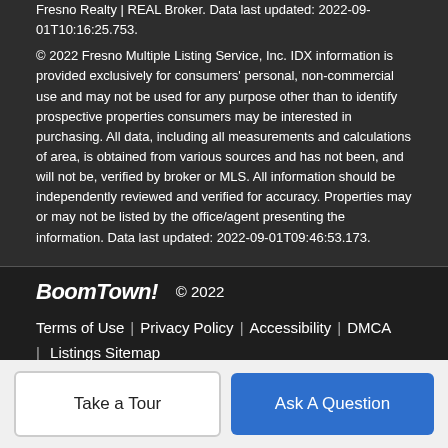Fresno Realty | REAL Broker. Data last updated: 2022-09-01T10:16:25.753.
© 2022 Fresno Multiple Listing Service, Inc. IDX information is provided exclusively for consumers' personal, non-commercial use and may not be used for any purpose other than to identify prospective properties consumers may be interested in purchasing. All data, including all measurements and calculations of area, is obtained from various sources and has not been, and will not be, verified by broker or MLS. All information should be independently reviewed and verified for accuracy. Properties may or may not be listed by the office/agent presenting the information. Data last updated: 2022-09-01T09:46:53.173.
BoomTown! © 2022 | Terms of Use | Privacy Policy | Accessibility | DMCA | Listings Sitemap